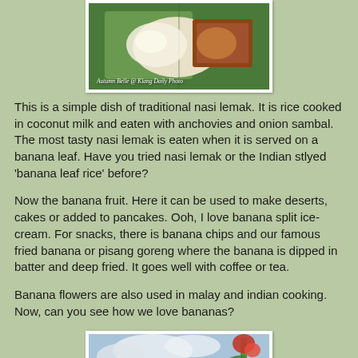[Figure (photo): Photo of nasi lemak served on a banana leaf with rice and anchovies. Watermark reads 'Autumn Belle @ Klang Daily Photo'.]
This is a simple dish of traditional nasi lemak. It is rice cooked in coconut milk and eaten with anchovies and onion sambal. The most tasty nasi lemak is eaten when it is served on a banana leaf. Have you tried nasi lemak or the Indian stlyed 'banana leaf rice' before?
Now the banana fruit. Here it can be used to make deserts, cakes or added to pancakes. Ooh, I love banana split ice-cream. For snacks, there is banana chips and our famous fried banana or pisang goreng where the banana is dipped in batter and deep fried. It goes well with coffee or tea.
Banana flowers are also used in malay and indian cooking. Now, can you see how we love bananas?
[Figure (photo): Photo of a banana flower or plant outdoors with sky in background.]